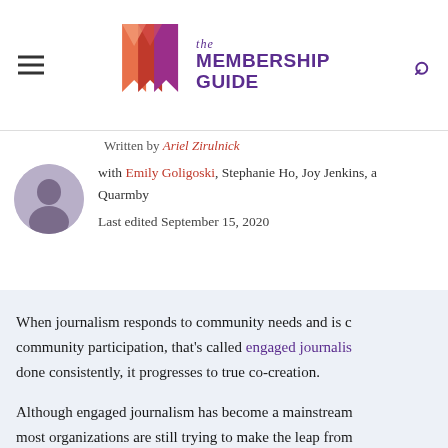[Figure (logo): The Membership Guide logo with stylized M bookmarks in orange/pink/red and purple text]
Written by Ariel Zirulnick
with Emily Goligoski, Stephanie Ho, Joy Jenkins, and Quarmby
Last edited September 15, 2020
When journalism responds to community needs and is co- community participation, that's called engaged journalism. done consistently, it progresses to true co-creation.
Although engaged journalism has become a mainstream most organizations are still trying to make the leap from projects to repeatable processes that build co-creation in